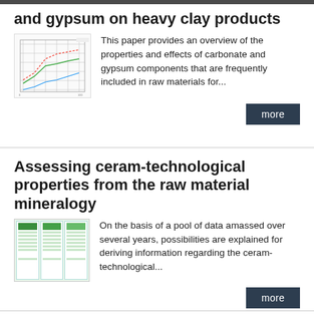and gypsum on heavy clay products
[Figure (other): Thumbnail image showing a graph/chart with gridlines and colored lines representing data about carbonate and gypsum properties]
This paper provides an overview of the properties and effects of carbonate and gypsum components that are frequently included in raw materials for...
more
Assessing ceram-technological properties from the raw material mineralogy
[Figure (table-as-image): Thumbnail showing three green-colored table/data panels side by side representing ceram-technological property data]
On the basis of a pool of data amassed over several years, possibilities are explained for deriving information regarding the ceram-technological...
more